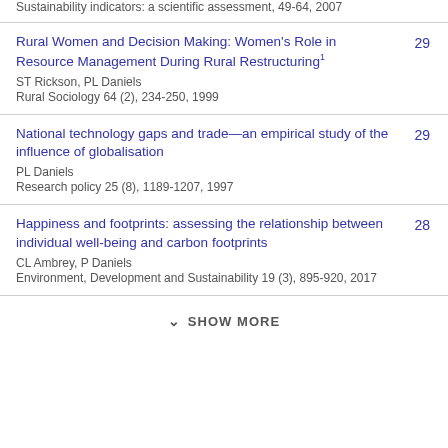Sustainability indicators: a scientific assessment, 49-64, 2007
Rural Women and Decision Making: Women's Role in Resource Management During Rural Restructuring¹ | ST Rickson, PL Daniels | Rural Sociology 64 (2), 234-250, 1999 | 29
National technology gaps and trade—an empirical study of the influence of globalisation | PL Daniels | Research policy 25 (8), 1189-1207, 1997 | 29
Happiness and footprints: assessing the relationship between individual well-being and carbon footprints | CL Ambrey, P Daniels | Environment, Development and Sustainability 19 (3), 895-920, 2017 | 28
SHOW MORE